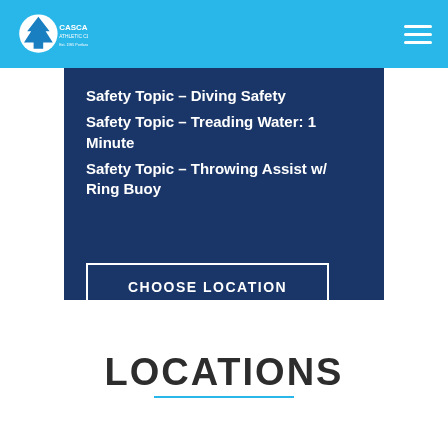Cascade Athletic Clubs
Safety Topic – Diving Safety
Safety Topic – Treading Water: 1 Minute
Safety Topic – Throwing Assist w/ Ring Buoy
CHOOSE LOCATION
LOCATIONS